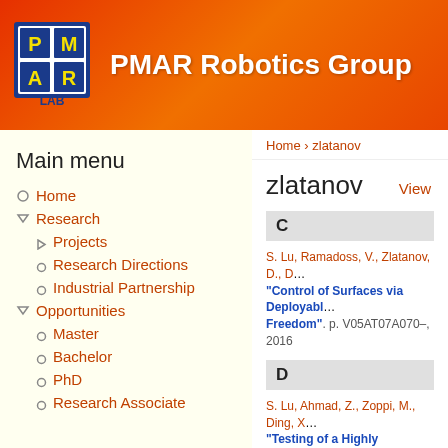[Figure (logo): PMAR Lab logo — 2x2 grid with letters P, M, A, R in yellow on blue squares, with LAB text below, inside a blue border frame]
PMAR Robotics Group
Home › zlatanov
Main menu
Home
Research
Projects
Research Directions
Industrial Partnership
Opportunities
Master
Bachelor
PhD
Research Associate
zlatanov
View
C
S. Lu, Ramadoss, V., Zlatanov, D., D… "Control of Surfaces via Deployable… Freedom". p. V05AT07A070–, 2016
D
S. Lu, Ahmad, Z., Zoppi, M., Ding, X… "Testing of a Highly Reconfigurable… of Mechanical Design, vol. 138, pp.…
C. Trinh, Zlatanov, D., and Zoppi, M…